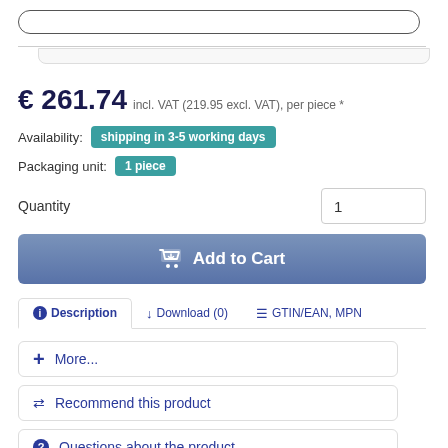[Figure (screenshot): Search input field (pill-shaped outline)]
[Figure (screenshot): Secondary navigation/breadcrumb bar]
€ 261.74 incl. VAT (219.95 excl. VAT), per piece *
Availability: shipping in 3-5 working days
Packaging unit: 1 piece
Quantity
Add to Cart
ⓘ Description   ↓ Download (0)   ☰ GTIN/EAN, MPN
+ More...
⇄ Recommend this product
❓ Questions about the product